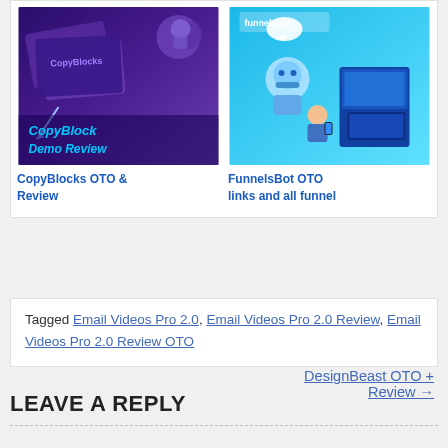[Figure (illustration): CopyBlocks product thumbnail with purple gradient background and 'CopyBlocks Demo Review' text overlay]
CopyBlocks OTO & Review
[Figure (illustration): FunnelsBot product thumbnail with blue gradient background showing robot character and product box]
FunnelsBot OTO links and all funnel
Tagged Email Videos Pro 2.0, Email Videos Pro 2.0 Review, Email Videos Pro 2.0 Review OTO
DesignBeast OTO + Review →
LEAVE A REPLY